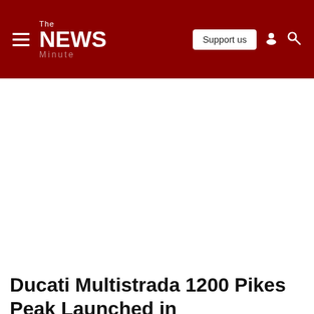The NEWS Minute — Support us
Ducati Multistrada 1200 Pikes Peak Launched in